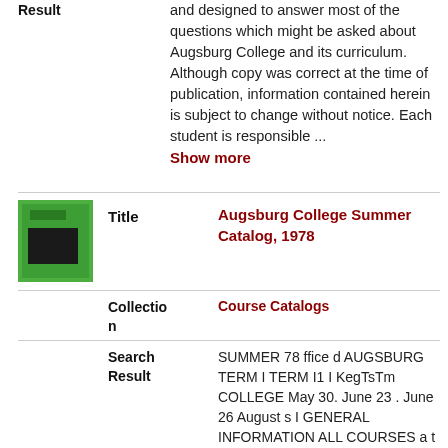Result
and designed to answer most of the questions which might be asked about Augsburg College and its curriculum. Although copy was correct at the time of publication, information contained herein is subject to change without notice. Each student is responsible ... Show more
Title
Augsburg College Summer Catalog, 1978
Collection
Course Catalogs
Search Result
SUMMER 78 ffice d AUGSBURG TERM I TERM I1 I KegTsTm COLLEGE May 30. June 23 . June 26 August s I GENERAL INFORMATION ALL COURSES a t Augsburg College c a r r y a v a l u e o f one Course C r e d i t , t h e e q u i v a l e n t o f f o